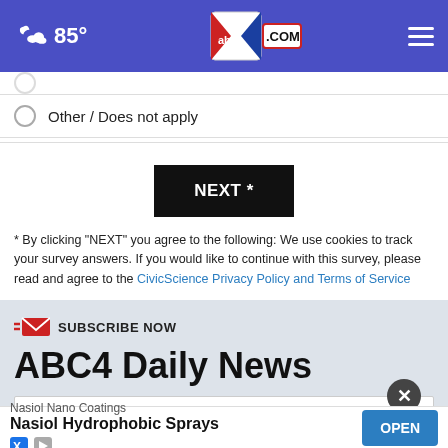85° abc4.com
Other / Does not apply
NEXT *
* By clicking "NEXT" you agree to the following: We use cookies to track your survey answers. If you would like to continue with this survey, please read and agree to the CivicScience Privacy Policy and Terms of Service
SUBSCRIBE NOW
ABC4 Daily News
Your email
Nasiol Nano Coatings
Nasiol Hydrophobic Sprays
OPEN